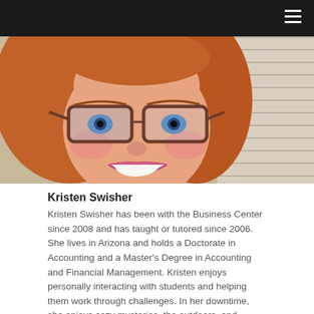[Figure (photo): Close-up photo of Kristen Swisher, a woman with long reddish-brown hair, glasses with brown frames, blue eyes, and a bright smile with pink lipstick. Background shows window blinds.]
Kristen Swisher
Kristen Swisher has been with the Business Center since 2008 and has taught or tutored since 2006. She lives in Arizona and holds a Doctorate in Accounting and a Master's Degree in Accounting and Financial Management. Kristen enjoys personally interacting with students and helping them work through challenges. In her downtime, she enjoys cozy mysteries, the outdoors, and Hallmark movies.